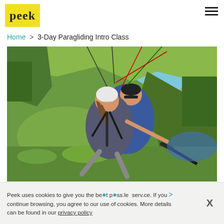peek
Home > 3-Day Paragliding Intro Class
[Figure (photo): Two people tandem paragliding high above a mountainous green landscape on a sunny day. The passenger, a woman with a white helmet, is in front smiling, and the instructor behind her is also smiling. Paraglider lines and harnesses are visible above them.]
Peek uses cookies to give you the best possible service. If you continue browsing, you agree to our use of cookies. More details can be found in our privacy policy